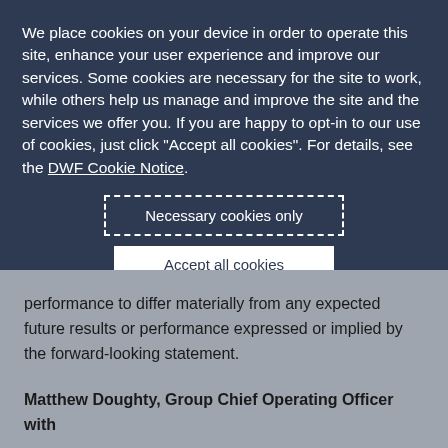We place cookies on your device in order to operate this site, enhance your user experience and improve our services. Some cookies are necessary for the site to work, while others help us manage and improve the site and the services we offer you. If you are happy to opt-in to our use of cookies, just click "Accept all cookies". For details, see the DWF Cookie Notice.
Necessary cookies only
Accept all cookies
+ Review our use of cookies and set your preferences
performance to differ materially from any expected future results or performance expressed or implied by the forward-looking statement.
Matthew Doughty, Group Chief Operating Officer with